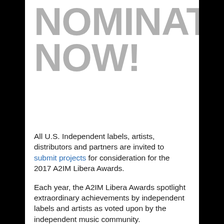NOMINATE NOW!
All U.S. Independent labels, artists, distributors and partners are invited to submit projects for consideration for the 2017 A2IM Libera Awards.
Each year, the A2IM Libera Awards spotlight extraordinary achievements by independent labels and artists as voted upon by the independent music community.